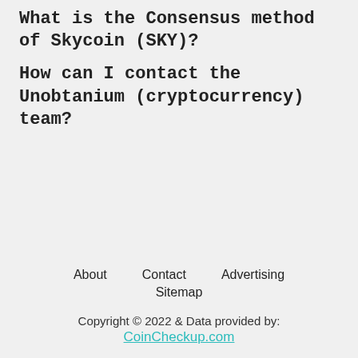What is the Consensus method of Skycoin (SKY)?
How can I contact the Unobtanium (cryptocurrency) team?
About   Contact   Advertising
Sitemap
Copyright © 2022 & Data provided by:
CoinCheckup.com